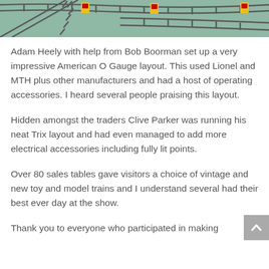[Figure (photo): Partial view of an American O Gauge model train layout showing tracks with yellow signal markers on a green/teal background, cropped at top of page]
Adam Heely with help from Bob Boorman set up a very impressive American O Gauge layout. This used Lionel and MTH plus other manufacturers and had a host of operating accessories. I heard several people praising this layout.
Hidden amongst the traders Clive Parker was running his neat Trix layout and had even managed to add more electrical accessories including fully lit points.
Over 80 sales tables gave visitors a choice of vintage and new toy and model trains and I understand several had their best ever day at the show.
Thank you to everyone who participated in making